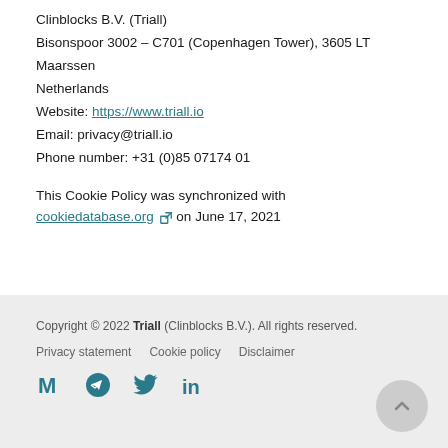Clinblocks B.V. (Triall)
Bisonspoor 3002 – C701 (Copenhagen Tower), 3605 LT
Maarssen
Netherlands
Website: https://www.triall.io
Email: privacy@triall.io
Phone number: +31 (0)85 07174 01
This Cookie Policy was synchronized with cookiedatabase.org on June 17, 2021
Copyright © 2022 Triall (Clinblocks B.V.). All rights reserved. Privacy statement Cookie policy Disclaimer